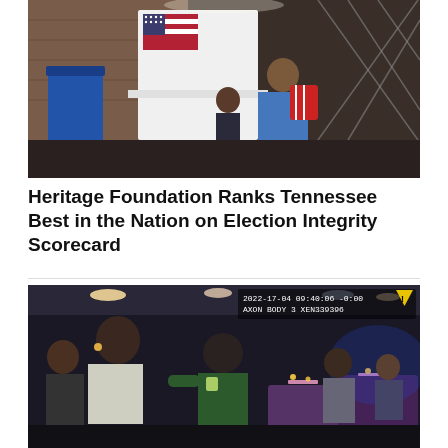[Figure (photo): People at a voting booth inside a community center. An adult and child are standing at a white privacy voting booth with an American flag visible. A blue trash bin is in the background along with security gates.]
Heritage Foundation Ranks Tennessee Best in the Nation on Election Integrity Scorecard
[Figure (photo): Body camera footage from 2022-17-04 09:40:06 -0:00, AXON BODY 3, showing people inside a restaurant or event hall with purple table cloths, ceiling lights, and a law enforcement officer interacting with individuals.]